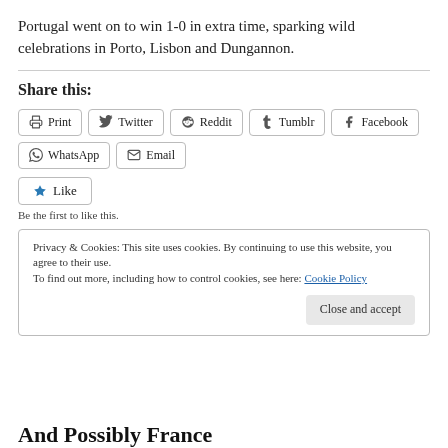Portugal went on to win 1-0 in extra time, sparking wild celebrations in Porto, Lisbon and Dungannon.
Share this:
Print  Twitter  Reddit  Tumblr  Facebook  WhatsApp  Email
Like  Be the first to like this.
Privacy & Cookies: This site uses cookies. By continuing to use this website, you agree to their use. To find out more, including how to control cookies, see here: Cookie Policy
Close and accept
And Possibly France